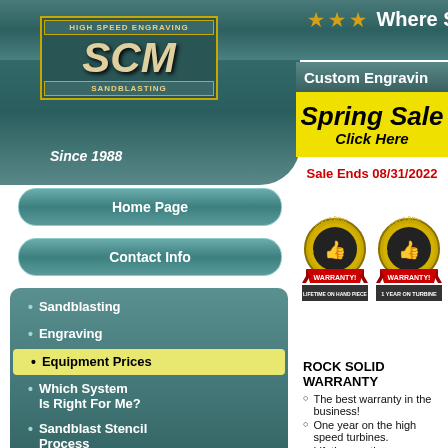[Figure (logo): SCM High Speed Engraving and Sandblasting logo with gold border, teal background, italic SCM letters]
Since 1988
★ ★ ★  Where Succes
Custom Engravin
Spring Sale
Click Here
Sale Ends 08/31/2022
Home Page
Contact Info
Sandblasting
Engraving
Equipment Prices
Which System Is Right For Me?
Sandblast Stencil Process
Engraving Stencil Process
[Figure (illustration): Industry's Best WARRANTY badge - gold circular seal with thumbs up and red ribbon banner. Text: LIFETIME ON HAND PIECE]
[Figure (illustration): Industry's Best WARRANTY badge - gold circular seal with thumbs up and red ribbon banner. Text: 1 YEAR ON TURBINE]
ROCK SOLID WARRANTY
The best warranty in the business!
One year on the high speed turbines.
Lifetime on the handpiece.
No fine print.